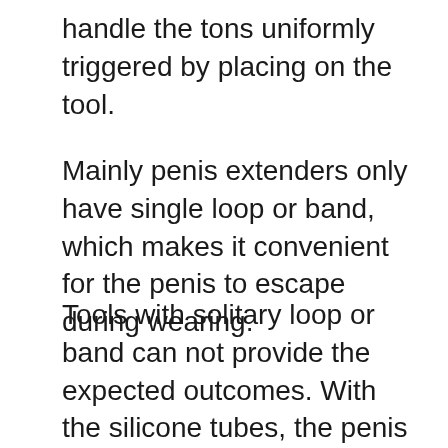handle the tons uniformly triggered by placing on the tool.
Mainly penis extenders only have single loop or band, which makes it convenient for the penis to escape during wearing.
Tools with solitary loop or band can not provide the expected outcomes. With the silicone tubes, the penis remains in a far better placement and the tension is maintained correctly. These functions make the Quick Extender Pro the most effective tool to obtain optimal gains. The device holds three qualities that make it stick out; the duration of use, establishing accuracy as well as degree of tension. The DSS system of Quick Extender Pro let's the wearer wear the